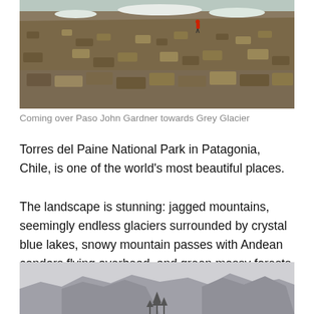[Figure (photo): Hikers crossing a rocky mountain pass (Paso John Gardner) with snow patches and a rocky slope in the background; a person in a red jacket is visible on the trail. Torres del Paine, Patagonia.]
Coming over Paso John Gardner towards Grey Glacier
Torres del Paine National Park in Patagonia, Chile, is one of the world’s most beautiful places.
The landscape is stunning: jagged mountains, seemingly endless glaciers surrounded by crystal blue lakes, snowy mountain passes with Andean condors flying overhead, and green mossy forests straight out of a scene from The Lord of the Rings.
[Figure (photo): Misty mountain peaks of Torres del Paine partially obscured by fog/clouds, with dark silhouettes of trees in the foreground.]